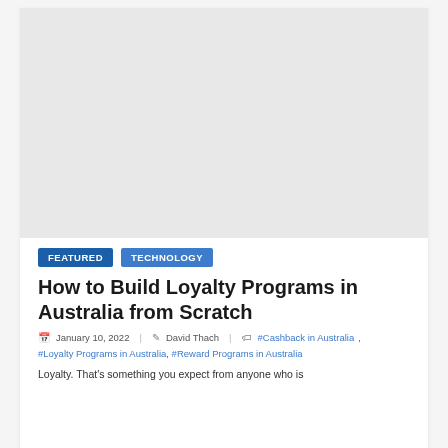[Figure (photo): Large featured image placeholder area at the top of the article card]
FEATURED   TECHNOLOGY
How to Build Loyalty Programs in Australia from Scratch
January 10, 2022   David Thach   #Cashback in Australia, #Loyalty Programs in Australia, #Reward Programs in Australia
Loyalty. That's something you expect from anyone who is